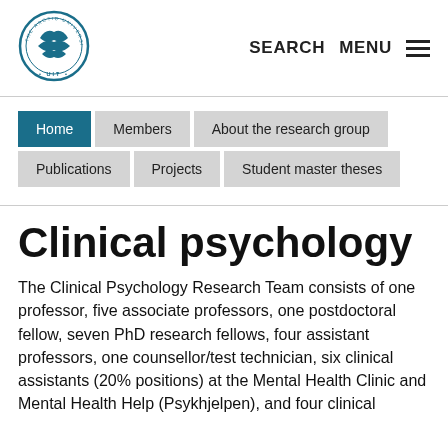[Figure (logo): UIT The Arctic University of Norway circular logo with teal bird/mountain imagery]
SEARCH   MENU
Home | Members | About the research group | Publications | Projects | Student master theses
Clinical psychology
The Clinical Psychology Research Team consists of one professor, five associate professors, one postdoctoral fellow, seven PhD research fellows, four assistant professors, one counsellor/test technician, six clinical assistants (20% positions) at the Mental Health Clinic and Mental Health Help (Psykhjelpen), and four clinical